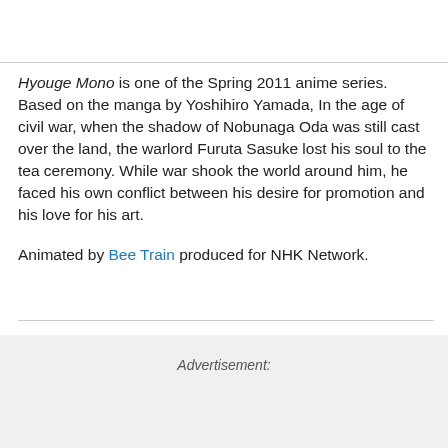Hyouge Mono is one of the Spring 2011 anime series. Based on the manga by Yoshihiro Yamada, In the age of civil war, when the shadow of Nobunaga Oda was still cast over the land, the warlord Furuta Sasuke lost his soul to the tea ceremony. While war shook the world around him, he faced his own conflict between his desire for promotion and his love for his art.

Animated by Bee Train produced for NHK Network.
Advertisement: